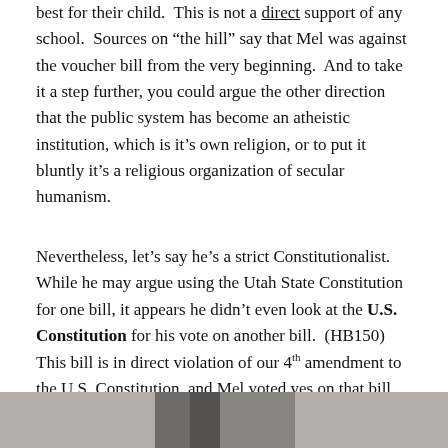best for their child. This is not a direct support of any school. Sources on “the hill” say that Mel was against the voucher bill from the very beginning. And to take it a step further, you could argue the other direction that the public system has become an atheistic institution, which is it’s own religion, or to put it bluntly it’s a religious organization of secular humanism.
Nevertheless, let’s say he’s a strict Constitutionalist. While he may argue using the Utah State Constitution for one bill, it appears he didn’t even look at the U.S. Constitution for his vote on another bill. (HB150) This bill is in direct violation of our 4th amendment to the U.S. Constitution, and Mel voted yes on that bill. This bill would allow internet service providers to turn over service information without a warrant.
[Figure (photo): Partial photo visible at bottom of page, shows a person, grayscale/muted tones]